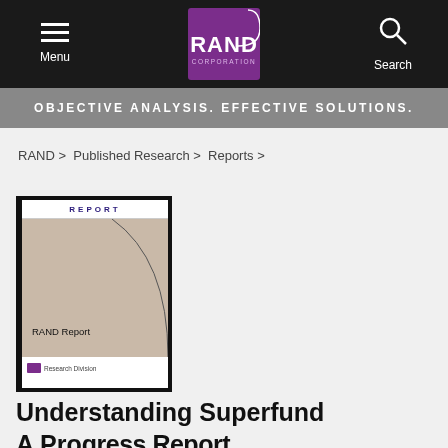RAND Corporation — Menu | Search
OBJECTIVE ANALYSIS. EFFECTIVE SOLUTIONS.
RAND > Published Research > Reports >
[Figure (illustration): RAND Report book cover showing a tan cover with a curved line graphic, text 'REPORT' at top and 'RAND Report' in center, with RAND Research Division logo at bottom.]
Understanding Superfund
A Progress Report